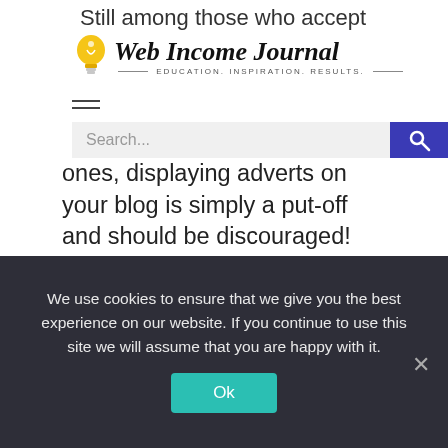Web Income Journal — EDUCATION. INSPIRATION. RESULTS.
ones, displaying adverts on your blog is simply a put-off and should be discouraged!
Now, I'm not here to argue whether blog monetization is right or wrong. However, having observed the confusion that many bloggers face because of these divergent
We use cookies to ensure that we give you the best experience on our website. If you continue to use this site we will assume that you are happy with it.